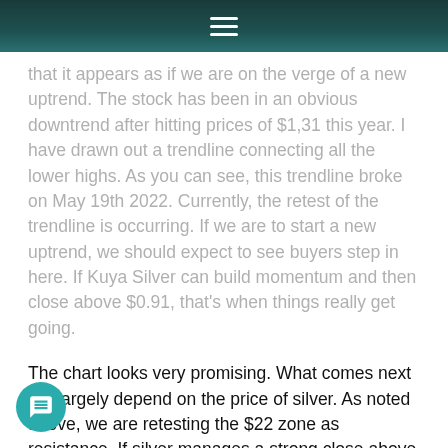≡
that it appears as if we are on the verge of a new uptrend. The stock has been in an obvious downtrend after hitting prices of $1,31 this year. I have drawn out a trendline connecting all the lower highs. As you can see, this trendline broke on May 19th 2022. Currently, the retest of the trendline is occurring. If we are to start a new uptrend, we should expect to see buyers step in here. If Kuya Silver can build momentum and then close above $0.91, that's when things really get going.
The chart looks very promising. What comes next will largely depend on the price of silver. As noted above, we are retesting the $22 zone as resistance. If silver manages a strong close above $22 with sustained momentum, Kuya Silver takes off from here.